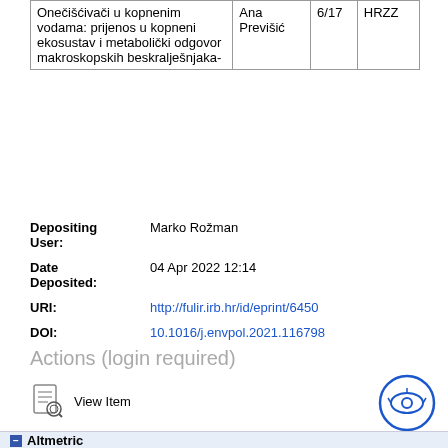|  |  |  |  |
| --- | --- | --- | --- |
| Onečišćivači u kopnenim vodama: prijenos u kopneni ekosustav i metabolički odgovor makroskopskih beskralješnjaka- | Ana Previšić | 6/17 | HRZZ |
Depositing User: Marko Rožman
Date Deposited: 04 Apr 2022 12:14
URI: http://fulir.irb.hr/id/eprint/6450
DOI: 10.1016/j.envpol.2021.116798
Actions (login required)
View Item
Altmetric